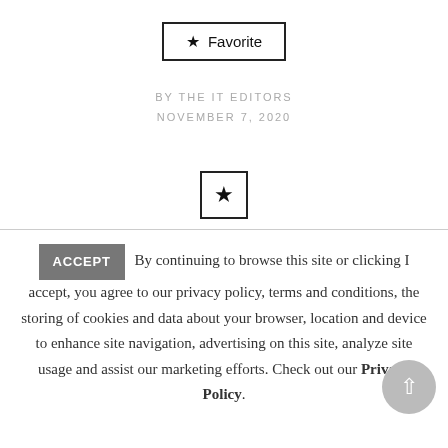[Figure (other): A Favorite button with a filled star icon and border]
BY THE IT EDITORS
NOVEMBER 7, 2020
[Figure (other): A bordered box containing a filled star icon]
ACCEPT  By continuing to browse this site or clicking I accept, you agree to our privacy policy, terms and conditions, the storing of cookies and data about your browser, location and device to enhance site navigation, advertising on this site, analyze site usage and assist our marketing efforts. Check out our Privacy Policy.